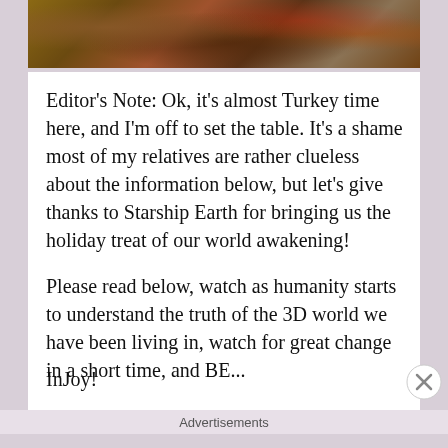[Figure (photo): Photograph of a Thanksgiving/holiday food scene with pies, grapes, walnuts, and other food items on a wooden table]
Editor's Note: Ok, it's almost Turkey time here, and I'm off to set the table. It's a shame most of my relatives are rather clueless about the information below, but let's give thanks to Starship Earth for bringing us the holiday treat of our world awakening!
Please read below, watch as humanity starts to understand the truth of the 3D world we have been living in, watch for great change in a short time, and BE...
InJoy!
Advertisements